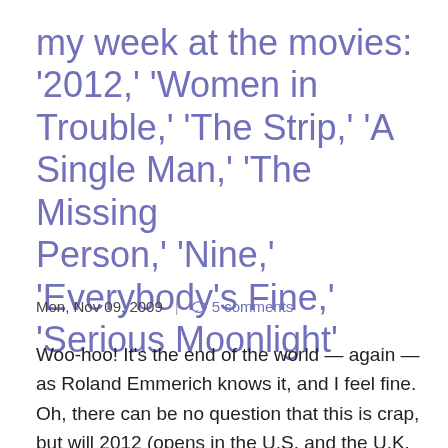my week at the movies: '2012,' 'Women in Trouble,' 'The Strip,' 'A Single Man,' 'The Missing Person,' 'Nine,' 'Everybody's Fine,' 'Serious Moonlight'
Mon, Nov 09, 2009 | 5 comments
Woo-hoo! It's the end of the world — again — as Roland Emmerich knows it, and I feel fine. Oh, there can be no question that this is crap, but will 2012 (opens in the U.S. and the U.K. on November 13) be